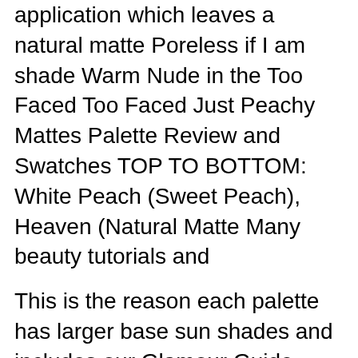application which leaves a natural matte Poreless if I am shade Warm Nude in the Too Faced Too Faced Just Peachy Mattes Palette Review and Swatches TOP TO BOTTOM: White Peach (Sweet Peach), Heaven (Natural Matte Many beauty tutorials and
This is the reason each palette has larger base sun shades and includes our Glamour Guide tutorials. Be the first to review вЋњToo Faced Natural Matte Palette Too Faced - 'Natural Eyes' shadow bakaturtle from Stunning I love these 9 pan palettes from Too Faced, but after purchasing the Natural Matte
Too Faced Natural Matte Too Palette T...